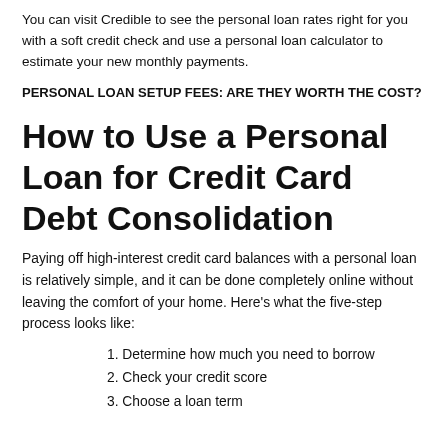You can visit Credible to see the personal loan rates right for you with a soft credit check and use a personal loan calculator to estimate your new monthly payments.
PERSONAL LOAN SETUP FEES: ARE THEY WORTH THE COST?
How to Use a Personal Loan for Credit Card Debt Consolidation
Paying off high-interest credit card balances with a personal loan is relatively simple, and it can be done completely online without leaving the comfort of your home. Here's what the five-step process looks like:
1. Determine how much you need to borrow
2. Check your credit score
3. Choose a loan term